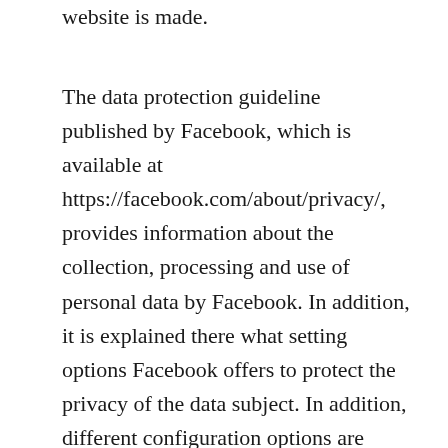website is made.
The data protection guideline published by Facebook, which is available at https://facebook.com/about/privacy/, provides information about the collection, processing and use of personal data by Facebook. In addition, it is explained there what setting options Facebook offers to protect the privacy of the data subject. In addition, different configuration options are made available to allow the elimination of data transmission to